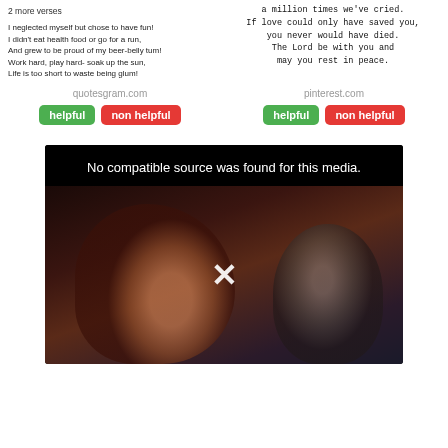2 more verses
I neglected myself but chose to have fun!
I didn't eat health food or go for a run,
And grew to be proud of my beer-belly tum!
Work hard, play hard- soak up the sun,
Life is too short to waste being glum!
a million times we've cried.
If love could only have saved you,
you never would have died.
The Lord be with you and
may you rest in peace.
quotesgram.com
pinterest.com
helpful
non helpful
helpful
non helpful
[Figure (screenshot): Video player showing 'No compatible source was found for this media.' message over a dark image of people in what appears to be a cinema, with a large white X in the center.]